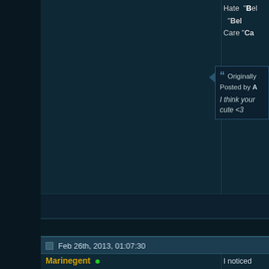Hate "Bel"
Care "Ca
Originally Posted by A
I think your cute <3
Feb 26th, 2013, 01:07:30
Marinegent
Supa Leet
[Figure (photo): Avatar image of a muscular bald character with tribal tattoo on head, looking stern]
I noticed you've neglected the is
Precognition' can we see this a
Leave "Marinegent" AScar - 220
Wakeup "Marinesold" Screamin
"Moonmarin" - 220/30/80 Solitu
"Marinekeep" - 215/18/4x Atrox
Originally Posted by C